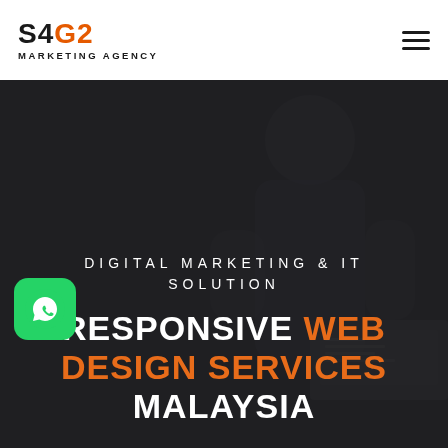[Figure (logo): S4G2 Marketing Agency logo — S4 in black bold, G2 in orange bold, MARKETING AGENCY in black small caps below]
[Figure (infographic): Hamburger menu icon (three horizontal lines) in top-right corner]
[Figure (photo): Dark-toned hero background image showing a person in a grey shirt working at a computer, with dark overlay]
DIGITAL MARKETING & IT SOLUTION
RESPONSIVE WEB DESIGN SERVICES MALAYSIA
[Figure (illustration): Green WhatsApp button with phone/chat icon, positioned bottom-left]